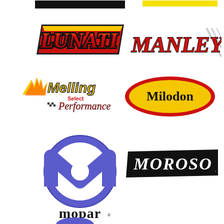[Figure (logo): Lunati logo - red and yellow bold italic text with black outline]
[Figure (logo): Manley logo - red italic bold text with racing stripe]
[Figure (logo): Melling Select Performance logo - yellow and red flame with checkered flag]
[Figure (logo): Milodon logo - black text on yellow oval with red border]
[Figure (logo): Mopar logo - purple M emblem with Mopar text]
[Figure (logo): Moroso logo - bold black and white italic text logo]